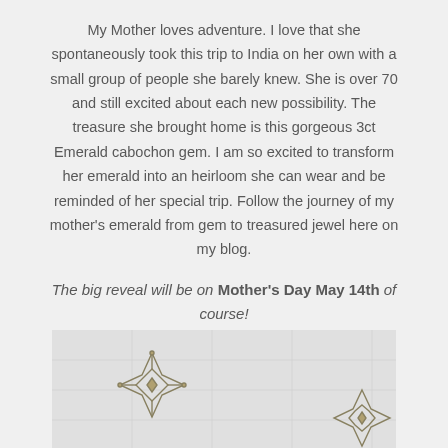My Mother loves adventure. I love that she spontaneously took this trip to India on her own with a small group of people she barely knew. She is over 70 and still excited about each new possibility. The treasure she brought home is this gorgeous 3ct Emerald cabochon gem. I am so excited to transform her emerald into an heirloom she can wear and be reminded of her special trip. Follow the journey of my mother's emerald from gem to treasured jewel here on my blog.
The big reveal will be on Mother's Day May 14th of course!
[Figure (photo): Sketch/photo of jewelry pieces — decorative diamond/cross-shaped pendants in gold outline on a light background]